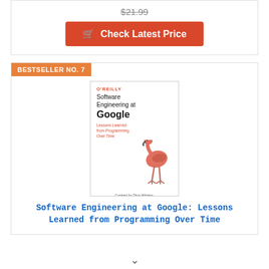$21.99
Check Latest Price
BESTSELLER NO. 7
[Figure (illustration): Book cover of 'Software Engineering at Google: Lessons Learned from Programming Over Time' published by O'Reilly, featuring a flamingo illustration. Curated by Titus Winters, Tom Manshreck & Hyrum Wright.]
Software Engineering at Google: Lessons Learned from Programming Over Time